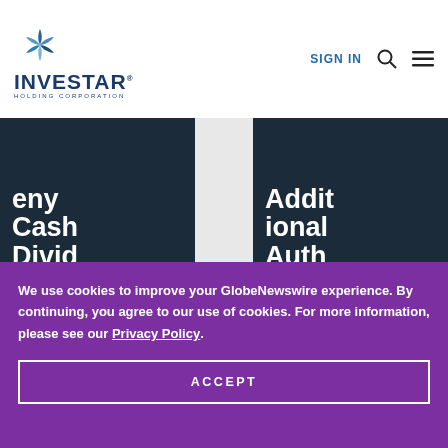[Figure (logo): Investar Holding Corporation logo with blue star/pinwheel icon and bold navy text]
SIGN IN
eny Cash Divid
Addit ional Auth
We use cookies to improve your GlobeNewswire experience. By continuing, you agree to our use of cookies. For more information, please see our Privacy Policy.
ACCEPT